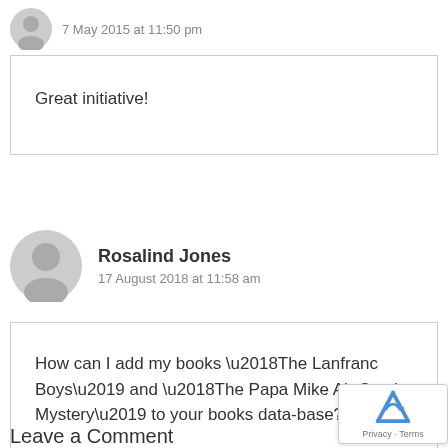7 May 2015 at 11:50 pm
Great initiative!
Rosalind Jones
17 August 2018 at 11:58 am
How can I add my books ‘The Lanfranc Boys’ and ‘The Papa Mike Air Crash Mystery’ to your books data-base?
Leave a Comment